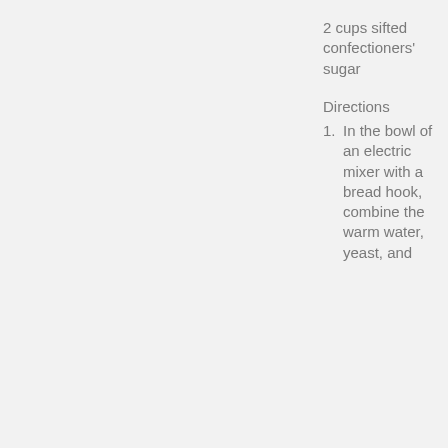2 cups sifted confectioners' sugar
Directions
In the bowl of an electric mixer with a bread hook, combine the warm water, yeast, and